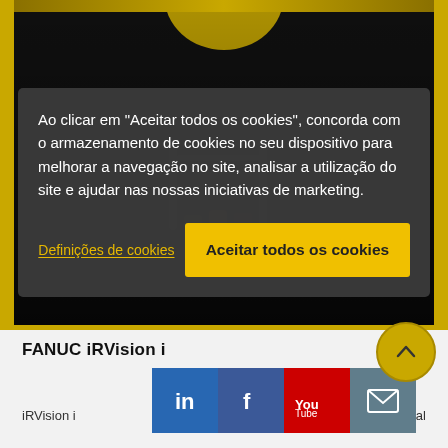[Figure (screenshot): Screenshot of a webpage with cookie consent overlay. Background shows a dark industrial robot scene with yellow border accents. At the bottom is a light grey content area with FANUC branding and social media icons.]
Ao clicar em "Aceitar todos os cookies", concorda com o armazenamento de cookies no seu dispositivo para melhorar a navegação no site, analisar a utilização do site e ajudar nas nossas iniciativas de marketing.
Definições de cookies
Aceitar todos os cookies
FANUC iRVision i
iRVision i
visual